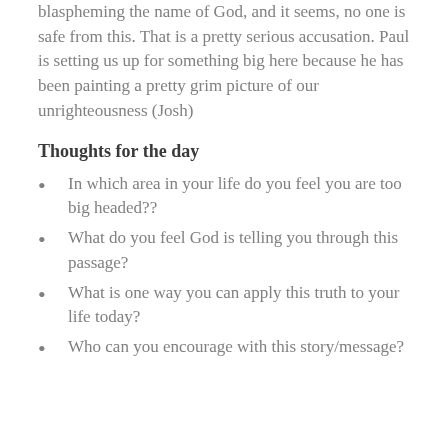blaspheming the name of God, and it seems, no one is safe from this. That is a pretty serious accusation. Paul is setting us up for something big here because he has been painting a pretty grim picture of our unrighteousness (Josh)
Thoughts for the day
In which area in your life do you feel you are too big headed??
What do you feel God is telling you through this passage?
What is one way you can apply this truth to your life today?
Who can you encourage with this story/message?